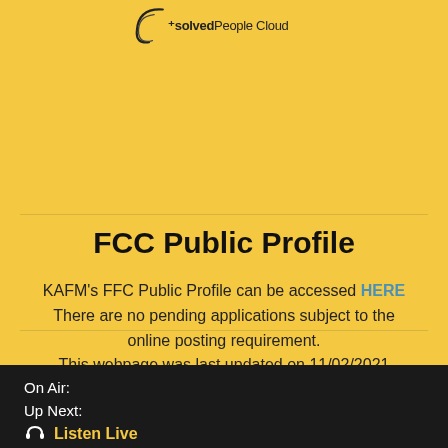[Figure (logo): Swoosh/curl logo with 'solved People Cloud' text in top area]
FCC Public Profile
KAFM's FFC Public Profile can be accessed HERE
There are no pending applications subject to the online posting requirement.
This webpage was last updated on 11/02/2021
On Air:
Up Next:
🎧 Listen Live